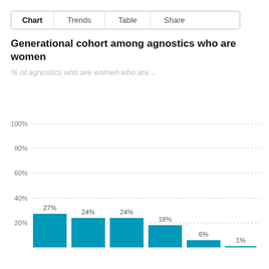Chart   Trends   Table   Share
Generational cohort among agnostics who are women
% of agnostics who are women who are...
[Figure (bar-chart): Generational cohort among agnostics who are women]